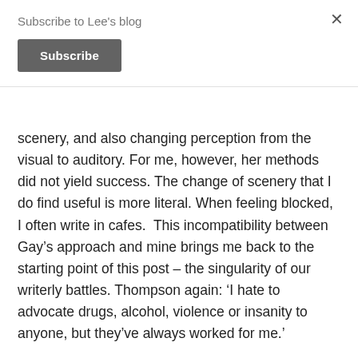Subscribe to Lee's blog
Subscribe
scenery, and also changing perception from the visual to auditory. For me, however, her methods did not yield success. The change of scenery that I do find useful is more literal. When feeling blocked, I often write in cafes.  This incompatibility between Gay’s approach and mine brings me back to the starting point of this post – the singularity of our writerly battles. Thompson again: ‘I hate to advocate drugs, alcohol, violence or insanity to anyone, but they’ve always worked for me.’